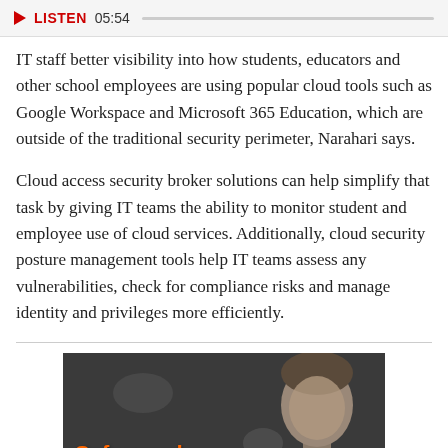LISTEN 05:54
IT staff better visibility into how students, educators and other school employees are using popular cloud tools such as Google Workspace and Microsoft 365 Education, which are outside of the traditional security perimeter, Narahari says.
Cloud access security broker solutions can help simplify that task by giving IT teams the ability to monitor student and employee use of cloud services. Additionally, cloud security posture management tools help IT teams assess any vulnerabilities, check for compliance risks and manage identity and privileges more efficiently.
[Figure (photo): Advertisement image showing a man with text overlay reading 'Safeguard Student Data' on a dark background]